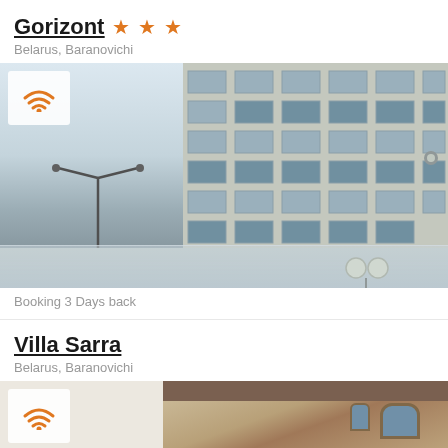Gorizont ★★★
Belarus, Baranovichi
[Figure (photo): Exterior photo of Gorizont hotel building in Baranovichi, Belarus. Shows a multi-story Soviet-style building facade with grid windows. A WiFi icon overlay is in the top-left corner. The left portion shows sky and a street lamp. The building has Cyrillic letters O-T-E-L-A on a center strip. Lower portion shows a reflection.]
Booking 3 Days back
Villa Sarra
Belarus, Baranovichi
[Figure (photo): Exterior photo of Villa Sarra in Baranovichi, Belarus. Shows a building with arched windows and warm beige/tan colored facade. A WiFi icon overlay is in the top-left corner.]